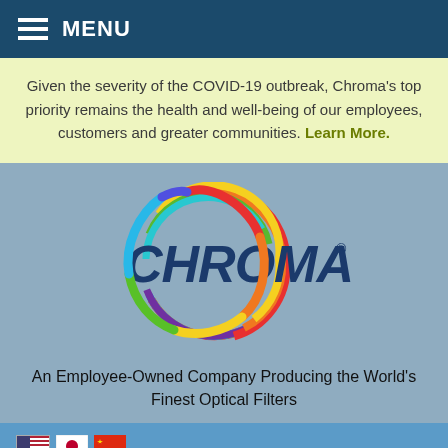≡ MENU
Given the severity of the COVID-19 outbreak, Chroma's top priority remains the health and well-being of our employees, customers and greater communities. Learn More.
[Figure (logo): Chroma logo with rainbow oval around the text CHROMA and a registered trademark symbol]
An Employee-Owned Company Producing the World's Finest Optical Filters
By using this website, you agree to our use of cookies. We use cookies to improve the user experience and to help our website run effectively. To learn more, read our Privacy Policy.
I agree   Browse by Fluorochrome
Spectra Viewer